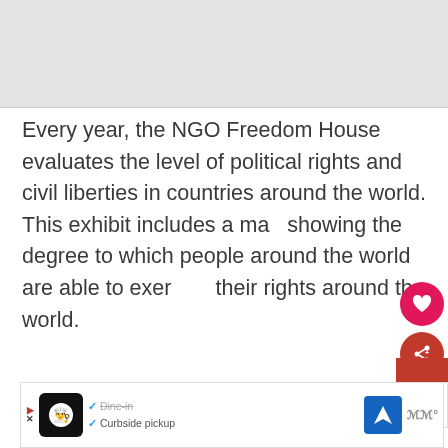[Figure (photo): Gray placeholder image area at top of page]
Every year, the NGO Freedom House evaluates the level of political rights and civil liberties in countries around the world. This exhibit includes a map showing the degree to which people around the world are able to exercise their rights around the world.
[Figure (screenshot): UI overlay with heart/like button (red circle), share button (red circle with share icon), and 'What's Next' panel showing '27 Things to Do in Sout...' with a city thumbnail]
[Figure (screenshot): Advertisement bar at bottom showing restaurant logo, Dine-in and Curbside pickup options with checkmarks, navigation icon, and weather widget]